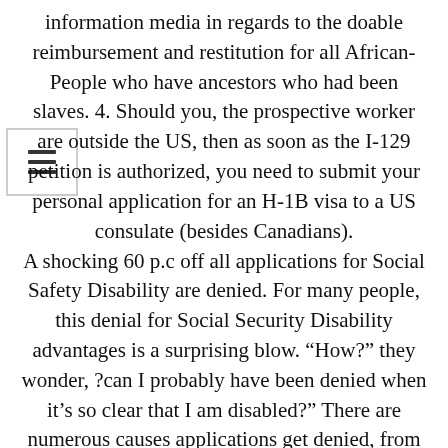information media in regards to the doable reimbursement and restitution for all African-People who have ancestors who had been slaves. 4. Should you, the prospective worker are outside the US, then as soon as the I-129 petition is authorized, you need to submit your personal application for an H-1B visa to a US consulate (besides Canadians). A shocking 60 p.c off all applications for Social Safety Disability are denied. For many people, this denial for Social Security Disability advantages is a surprising blow. “How?” they wonder, ?can I probably have been denied when it’s so clear that I am disabled?” There are numerous causes applications get denied, from missing information to inadequate evidence of a incapacity. To fight this drawback,